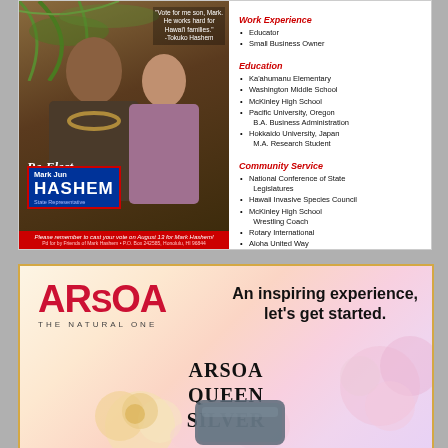[Figure (photo): Political advertisement for Mark Jun Hashem re-election campaign with photos of candidate and his mother, red bottom bar with vote reminder text]
Work Experience
Educator
Small Business Owner
Education
Ka'ahumanu Elementary
Washington Middle School
McKinley High School
Pacific University, Oregon
B.A. Business Administration
Hokkaido University, Japan
M.A. Research Student
Community Service
National Conference of State Legislatures
Hawaii Invasive Species Council
McKinley High School Wrestling Coach
Rotary International
Aloha United Way
[Figure (advertisement): ARSOA The Natural One cosmetics advertisement with floral background, text 'An inspiring experience, let's get started.' and product name ARSOA QUEEN SILVER with product image]